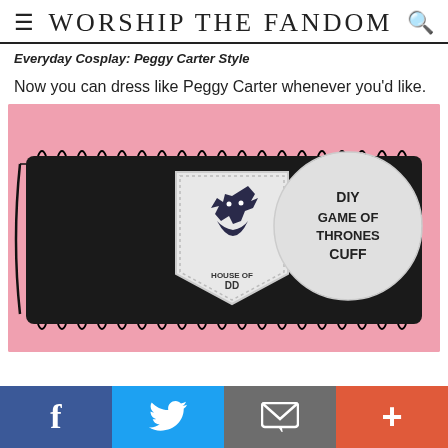WORSHIP THE FANDOM
Everyday Cosplay: Peggy Carter Style
Now you can dress like Peggy Carter whenever you'd like.
[Figure (photo): A black leather wrist cuff with lacing along the edges. In the center is a white shield-shaped badge featuring a direwolf (House Stark sigil) and the text 'HOUSE OF DD'. A circular white label to the right reads 'DIY GAME OF THRONES CUFF'. The background is pink.]
f  (Twitter bird)  (email icon)  +